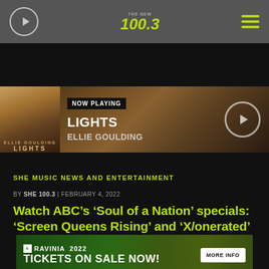THE NEW 100.3
[Figure (screenshot): Now Playing bar showing Ellie Goulding - Lights album art with play button]
[Figure (infographic): Ravinia 2022 advertisement banner: Tickets On Sale Now! More Info button]
SHE MUSIC NEWS AND ENTERTAINMENT
BY SHE 100.3 | FEBRUARY 4, 2022
Watch ABC’s ‘Soul of a Nation’ specials: ‘Screen Queens Rising’ and ‘X/onerated’